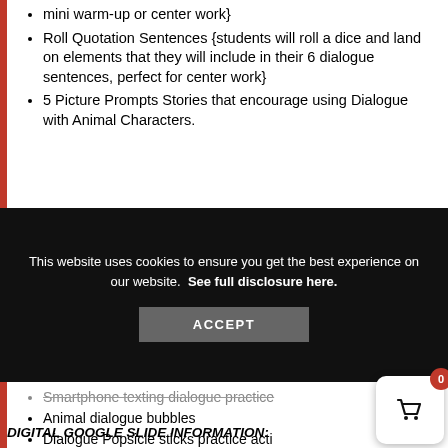mini warm-up or center work}
Roll Quotation Sentences {students will roll a dice and land on elements that they will include in their 6 dialogue sentences, perfect for center work}
5 Picture Prompts Stories that encourage using Dialogue with Animal Characters.
This website uses cookies to ensure you get the best experience on our website.  See full disclosure here.
ACCEPT
Smartphone texting dialogue practice
Animal dialogue bubbles
Dialogue Popsicle sticks practice acti
DIGITAL GOOGLE SLIDE INFORMATION: